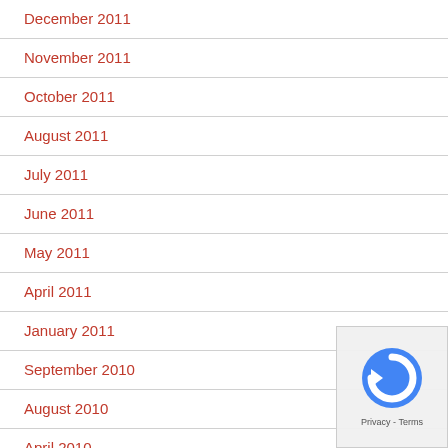December 2011
November 2011
October 2011
August 2011
July 2011
June 2011
May 2011
April 2011
January 2011
September 2010
August 2010
April 2010
February 2010